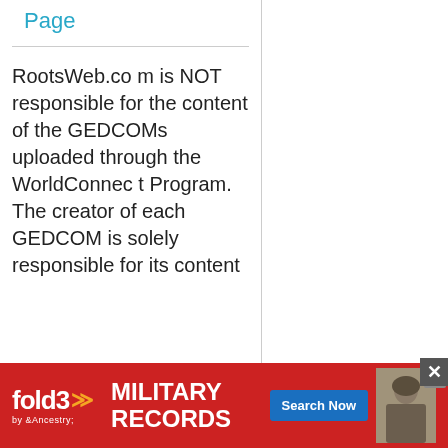Page
RootsWeb.com is NOT responsible for the content of the GEDCOMs uploaded through the WorldConnect Program. The creator of each GEDCOM is solely responsible for its content
[Figure (infographic): Fold3 by Ancestry advertisement banner for Military Records with a Search Now button and soldier photo]